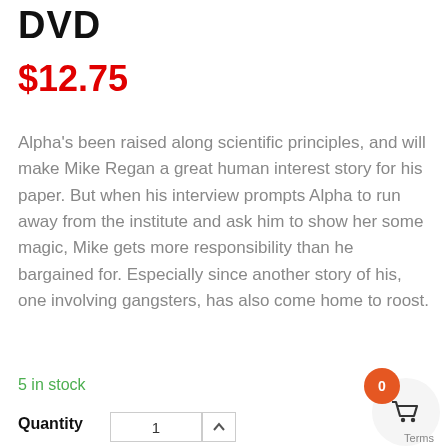DVD
$12.75
Alpha's been raised along scientific principles, and will make Mike Regan a great human interest story for his paper. But when his interview prompts Alpha to run away from the institute and ask him to show her some magic, Mike gets more responsibility than he bargained for. Especially since another story of his, one involving gangsters, has also come home to roost.
5 in stock
Quantity   1